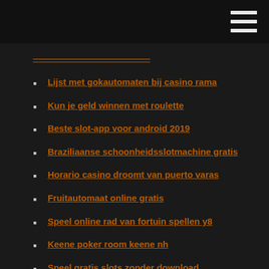Lijst met gokautomaten bij casino rama
Kun je geld winnen met roulette
Beste slot-app voor android 2019
Braziliaanse schoonheidsslotmachine gratis
Horario casino droomt van puerto varas
Fruitautomaat online gratis
Speel online rad van fortuin spellen y8
Keene poker room keene nh
Speel gratis slots zonder download
Delaware park casino gokautomaten
Poker run oude hickory lake
Hs-code voor gokautomaatonderdelen